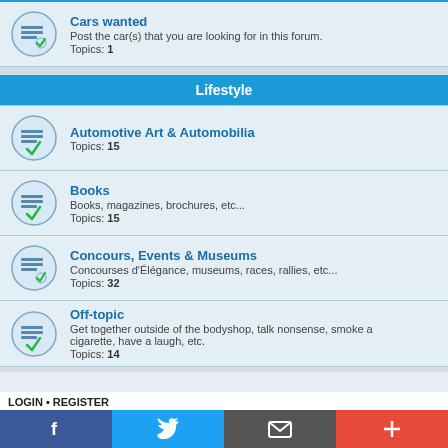Cars wanted — Post the car(s) that you are looking for in this forum. Topics: 1
Lifestyle
Automotive Art & Automobilia — Topics: 15
Books — Books, magazines, brochures, etc... Topics: 15
Concours, Events & Museums — Concourses d'Élégance, museums, races, rallies, etc... Topics: 32
Off-topic — Get together outside of the bodyshop, talk nonsense, smoke a cigarette, have a laugh, etc. Topics: 14
The COACHBUILD.com forum
About COACHBUILD.com — About COACHBUILD.com and this forum Topics: 6
LOGIN • REGISTER